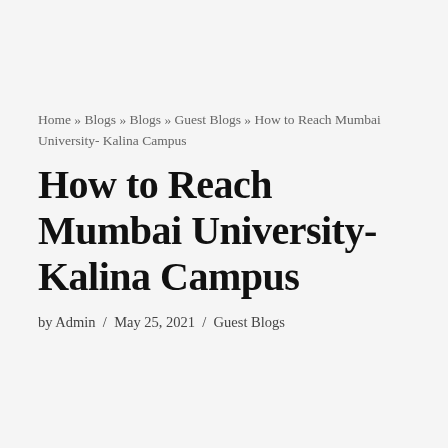Home » Blogs » Blogs » Guest Blogs » How to Reach Mumbai University- Kalina Campus
How to Reach Mumbai University- Kalina Campus
by Admin / May 25, 2021 / Guest Blogs